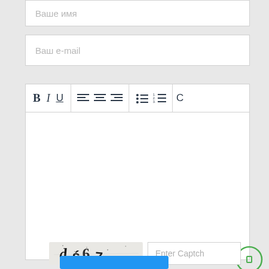Ваше имя
Ваш e-mail
[Figure (screenshot): Rich text editor toolbar with B, I, U, text alignment, list buttons and an empty editor body]
[Figure (screenshot): CAPTCHA image showing distorted text 'ds67' on a beige background]
Enter Captch